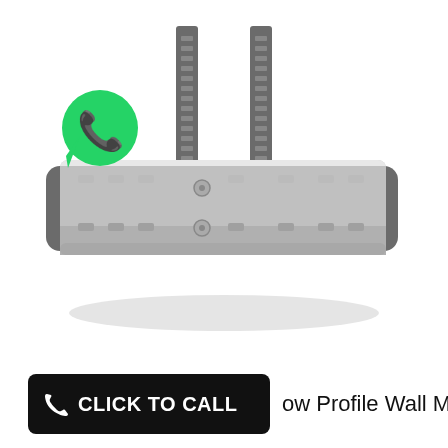[Figure (photo): A silver and dark grey low profile TV wall mount bracket shown from the front. The mount has two vertical slotted rails at the top and a large horizontal cylindrical silver bar. A green WhatsApp logo badge is overlaid in the upper-left area of the product image.]
CLICK TO CALL  ow Profile Wall Mount